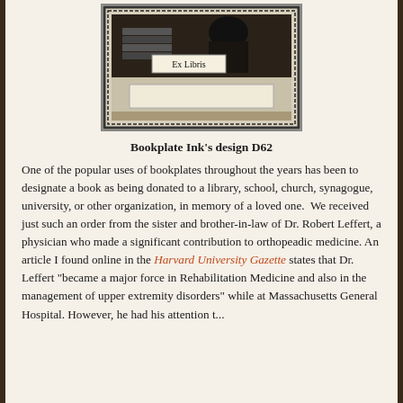[Figure (illustration): An Ex Libris bookplate design D62 showing a decorative black and white woodcut-style image with 'Ex Libris' text and a blank name plate area, framed with ornamental border.]
Bookplate Ink's design D62
One of the popular uses of bookplates throughout the years has been to designate a book as being donated to a library, school, church, synagogue, university, or other organization, in memory of a loved one.  We received just such an order from the sister and brother-in-law of Dr. Robert Leffert, a physician who made a significant contribution to orthopeadic medicine. An article I found online in the Harvard University Gazette states that Dr. Leffert “became a major force in Rehabilitation Medicine and also in the management of upper extremity disorders” while at Massachusetts General Hospital. However, he had his attention t...